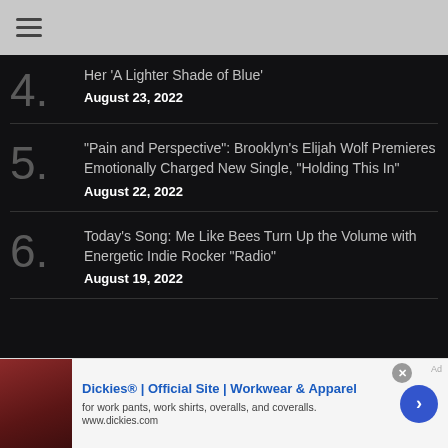4. Her 'A Lighter Shade of Blue' — August 23, 2022
5. "Pain and Perspective": Brooklyn's Elijah Wolf Premieres Emotionally Charged New Single, "Holding This In" — August 22, 2022
6. Today's Song: Me Like Bees Turn Up the Volume with Energetic Indie Rocker "Radio" — August 19, 2022
Dickies® | Official Site | Workwear & Apparel — for work pants, work shirts, overalls, and coveralls. www.dickies.com